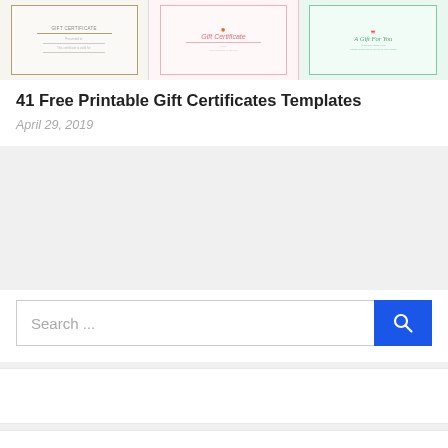[Figure (illustration): Three gift certificate template previews side by side: left is a floral black-and-white design, center is a pink Gift Certificate with gift box icon, right is a teal 'A Gift For You' design with ribbon.]
41 Free Printable Gift Certificates Templates
April 29, 2019
[Figure (other): Advertisement block (gray background)]
Search ...
[Figure (other): Widget block 1 (white box)]
[Figure (other): Widget block 2 (white box)]